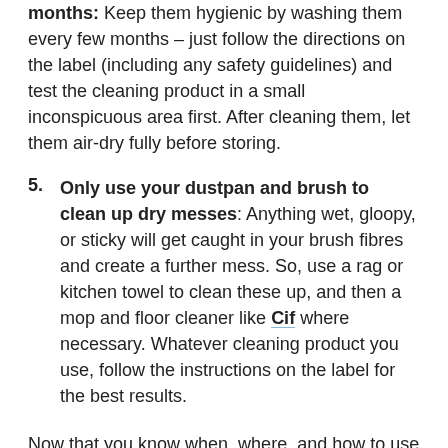months: Keep them hygienic by washing them every few months – just follow the directions on the label (including any safety guidelines) and test the cleaning product in a small inconspicuous area first. After cleaning them, let them air-dry fully before storing.
5. Only use your dustpan and brush to clean up dry messes: Anything wet, gloopy, or sticky will get caught in your brush fibres and create a further mess. So, use a rag or kitchen towel to clean these up, and then a mop and floor cleaner like Cif where necessary. Whatever cleaning product you use, follow the instructions on the label for the best results.
Now that you know when, where, and how to use